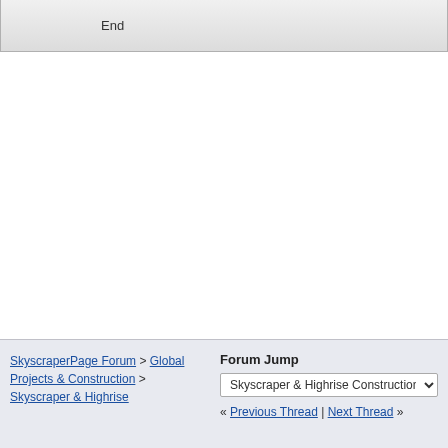End
[Figure (screenshot): Post Reply button with pencil/paper icon, blue gradient rounded rectangle]
SkyscraperPage Forum > Global Projects & Construction > Skyscraper & Highrise
Forum Jump
Skyscraper & Highrise Construction
« Previous Thread | Next Thread »